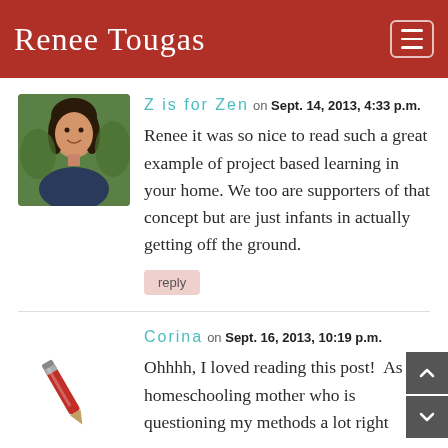Renee Tougas
Z is for Zen on Sept. 14, 2013, 4:33 p.m.
Renee it was so nice to read such a great example of project based learning in your home. We too are supporters of that concept but are just infants in actually getting off the ground.
reply
Corina on Sept. 16, 2013, 10:19 p.m.
Ohhhh, I loved reading this post!  As homeschooling mother who is questioning my methods a lot right